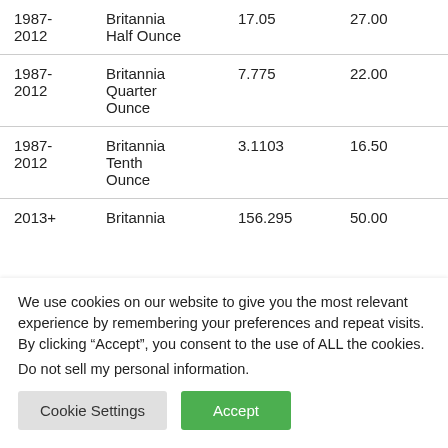| 1987-2012 | Britannia Half Ounce | 17.05 | 27.00 | 2.08 |
| 1987-2012 | Britannia Quarter Ounce | 7.775 | 22.00 | 1.63 |
| 1987-2012 | Britannia Tenth Ounce | 3.1103 | 16.50 | 1.17 |
| 2013+ | Britannia | 156.295 | 50.00 |  |
We use cookies on our website to give you the most relevant experience by remembering your preferences and repeat visits. By clicking “Accept”, you consent to the use of ALL the cookies.
Do not sell my personal information.